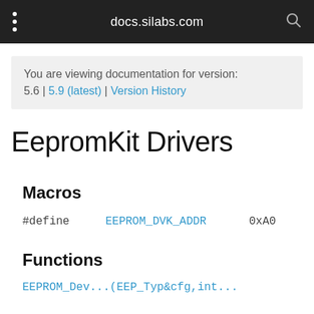docs.silabs.com
You are viewing documentation for version: 5.6 | 5.9 (latest) | Version History
EepromKit Drivers
Macros
#define   EEPROM_DVK_ADDR   0xA0
Functions
EEPROM_Dev... (partial)